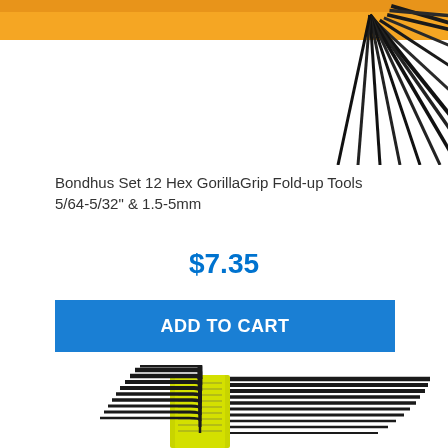[Figure (photo): Top portion of Bondhus Hex GorillaGrip Fold-up tool set with orange handle and black hex keys fanned out]
Bondhus Set 12 Hex GorillaGrip Fold-up Tools 5/64-5/32" & 1.5-5mm
$7.35
ADD TO CART
[Figure (photo): Bottom portion showing a yellow-handled hex key L-wrench set with multiple black L-shaped allen keys]